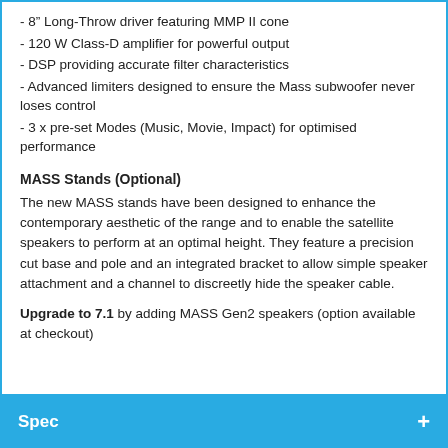- 8" Long-Throw driver featuring MMP II cone
- 120 W Class-D amplifier for powerful output
- DSP providing accurate filter characteristics
- Advanced limiters designed to ensure the Mass subwoofer never loses control
- 3 x pre-set Modes (Music, Movie, Impact) for optimised performance
MASS Stands (Optional)
The new MASS stands have been designed to enhance the contemporary aesthetic of the range and to enable the satellite speakers to perform at an optimal height. They feature a precision cut base and pole and an integrated bracket to allow simple speaker attachment and a channel to discreetly hide the speaker cable.
Upgrade to 7.1 by adding MASS Gen2 speakers (option available at checkout)
Spec